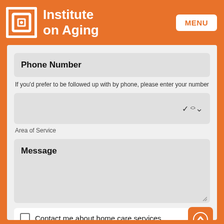[Figure (logo): Institute on Aging logo — white nested square/frame icon on orange background with white text 'Institute on Aging']
Phone Number
If you'd prefer to be followed up with by phone, please enter your number
Area of Service
Message
Contact me about home care services
Sign me up for IOA's newsletter